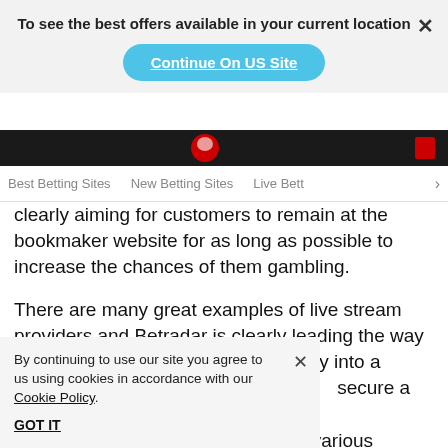To see the best offers available in your current location
Continue On US Site
Best Betting Sites   New Betting Sites   Live Bett…
clearly aiming for customers to remain at the bookmaker website for as long as possible to increase the chances of them gambling.
There are many great examples of live stream providers and Betradar is clearly leading the way in terms of integrating this technology into a betting site, a… secure a deal w… nes to the various sp… a restriction on th… w the matches.
By continuing to use our site you agree to us using cookies in accordance with our Cookie Policy.
GOT IT